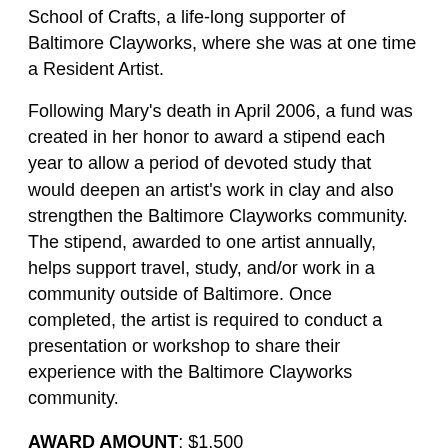School of Crafts, a life-long supporter of Baltimore Clayworks, where she was at one time a Resident Artist.
Following Mary's death in April 2006, a fund was created in her honor to award a stipend each year to allow a period of devoted study that would deepen an artist's work in clay and also strengthen the Baltimore Clayworks community. The stipend, awarded to one artist annually, helps support travel, study, and/or work in a community outside of Baltimore. Once completed, the artist is required to conduct a presentation or workshop to share their experience with the Baltimore Clayworks community.
AWARD AMOUNT: $1,500
APPLICATION DEADLINE: April 30, 2021, 11:59pm.
ELIGIBILITY: This award is open to any Baltimore Clayworks artist. This includes former and current resident artists, alumni, visiting artists, teaching artists, springboard members, artists that are members or volunteers of